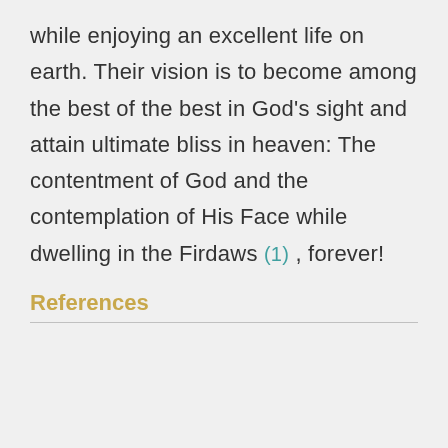while enjoying an excellent life on earth. Their vision is to become among the best of the best in God's sight and attain ultimate bliss in heaven: The contentment of God and the contemplation of His Face while dwelling in the Firdaws (1) , forever!
References